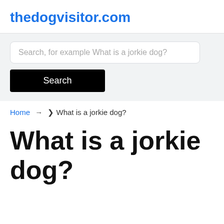thedogvisitor.com
Search, for example What is a jorkie dog?
Search
Home → ❯ What is a jorkie dog?
What is a jorkie dog?